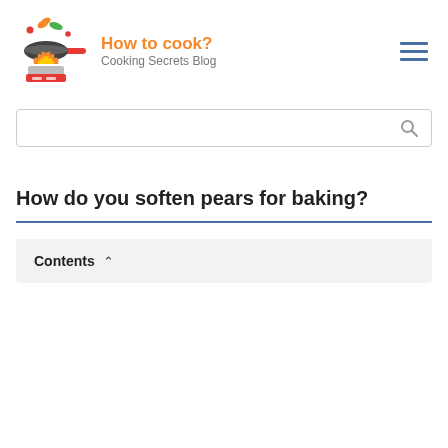How to cook? Cooking Secrets Blog
[Figure (illustration): Cooking logo with frying pan, vegetables (carrot, green leaf), fire flames, and a red stove burner base]
How do you soften pears for baking?
Contents